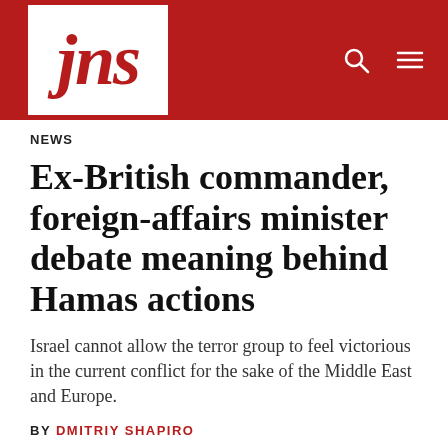jns
NEWS
Ex-British commander, foreign-affairs minister debate meaning behind Hamas actions
Israel cannot allow the terror group to feel victorious in the current conflict for the sake of the Middle East and Europe.
BY DMITRIY SHAPIRO